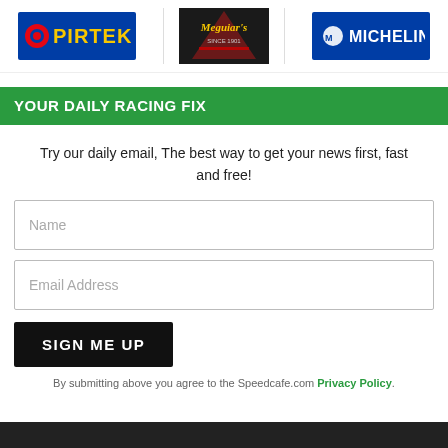[Figure (logo): Three sponsor logos: Pirtek (blue background), Meguiar's (dark background with script text), Michelin (blue background with man bibendum icon)]
YOUR DAILY RACING FIX
Try our daily email, The best way to get your news first, fast and free!
Name (input field)
Email Address (input field)
SIGN ME UP
By submitting above you agree to the Speedcafe.com Privacy Policy.